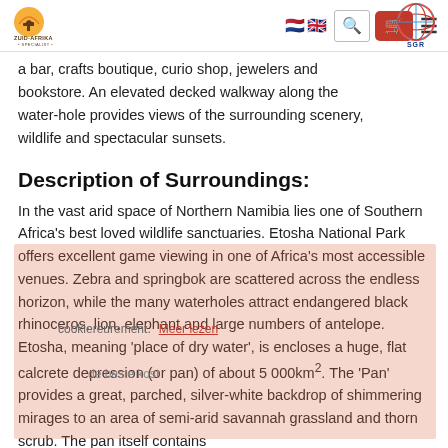Zuid-Afrika Specialist — navigation bar with logo, language flags, search, cart, menu
a bar, crafts boutique, curio shop, jewelers and bookstore. An elevated decked walkway along the water-hole provides views of the surrounding scenery, wildlife and spectacular sunsets.
[Figure (logo): SGR circular logo with globe graphic and red/blue text]
Description of Surroundings:
In the vast arid space of Northern Namibia lies one of Southern Africa's best loved wildlife sanctuaries. Etosha National Park offers excellent game viewing in one of Africa's most accessible venues. Zebra and springbok are scattered across the endless horizon, while the many waterholes attract endangered black rhinoceros, lion, elephant and large numbers of antelope. Etosha, meaning 'place of dry water', is encloses a huge, flat calcrete depression (or pan) of about 5 000km². The 'Pan' provides a great, parched, silver-white backdrop of shimmering mirages to an area of semi-arid savannah grassland and thorn scrub. The pan itself contains